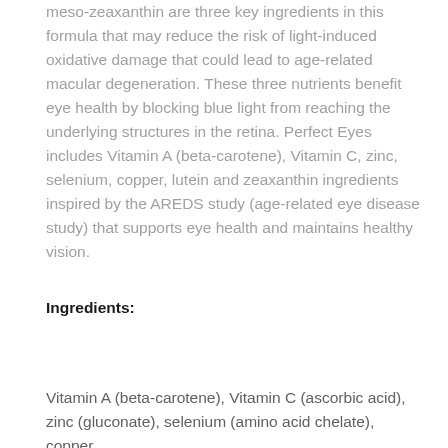meso-zeaxanthin are three key ingredients in this formula that may reduce the risk of light-induced oxidative damage that could lead to age-related macular degeneration. These three nutrients benefit eye health by blocking blue light from reaching the underlying structures in the retina. Perfect Eyes includes Vitamin A (beta-carotene), Vitamin C, zinc, selenium, copper, lutein and zeaxanthin ingredients inspired by the AREDS study (age-related eye disease study) that supports eye health and maintains healthy vision.
Ingredients:
Vitamin A (beta-carotene), Vitamin C (ascorbic acid), zinc (gluconate), selenium (amino acid chelate), copper